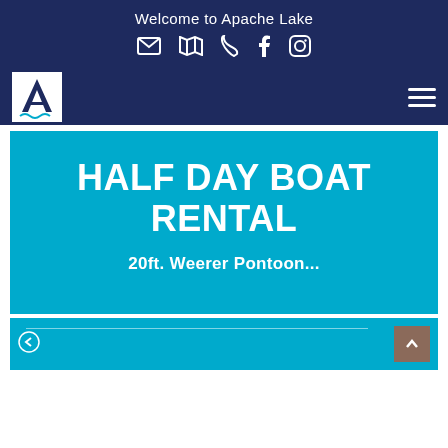Welcome to Apache Lake
[Figure (screenshot): Navigation icons row: envelope, map, phone, Facebook, Instagram]
[Figure (logo): Apache Lake logo — letter A with water graphic on white background]
HALF DAY BOAT RENTAL
20ft. Weerer Pontoon...
[Figure (screenshot): Bottom partial card with back arrow and up/scroll-to-top button]